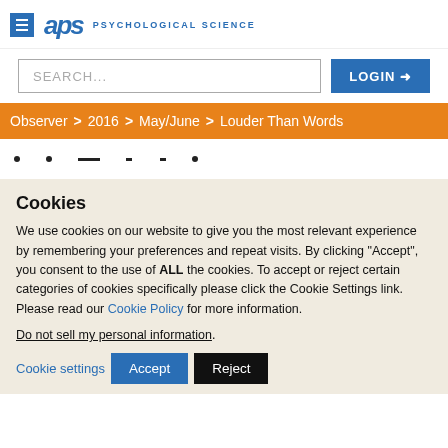APS PSYCHOLOGICAL SCIENCE
SEARCH... LOGIN
Observer > 2016 > May/June > Louder Than Words
Cookies
We use cookies on our website to give you the most relevant experience by remembering your preferences and repeat visits. By clicking “Accept”, you consent to the use of ALL the cookies. To accept or reject certain categories of cookies specifically please click the Cookie Settings link. Please read our Cookie Policy for more information.
Do not sell my personal information.
Cookie settings  Accept  Reject